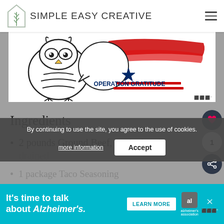SIMPLE EASY CREATIVE
[Figure (illustration): Article image showing a cartoon owl with Operation Gratitude logo and a red brushstroke graphic element]
Ingredients
2 pounds Ground Beef, cooked and drained
1 package Taco Seasoning
water
By continuing to use the site, you agree to the use of cookies.
more information   Accept
It's time to talk about Alzheimer's.   LEARN MORE